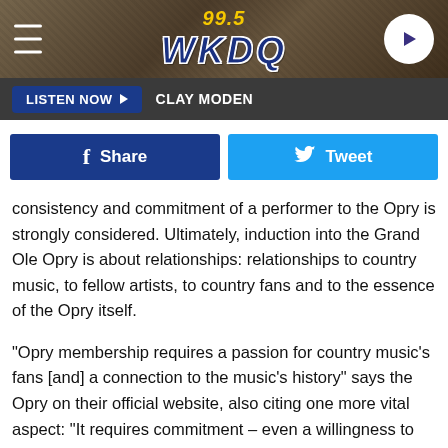99.5 WKDQ
LISTEN NOW  CLAY MODEN
[Figure (screenshot): Facebook Share button and Twitter Tweet button side by side]
consistency and commitment of a performer to the Opry is strongly considered. Ultimately, induction into the Grand Ole Opry is about relationships: relationships to country music, to fellow artists, to country fans and to the essence of the Opry itself.
"Opry membership requires a passion for country music's fans [and] a connection to the music's history" says the Opry on their official website, also citing one more vital aspect: "It requires commitment – even a willingness to make significant sacrifices to uphold that commitment."